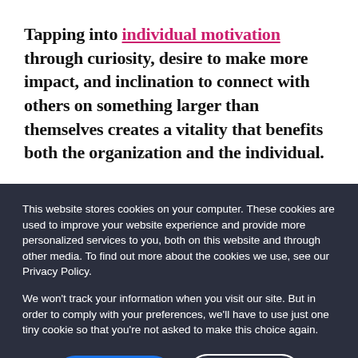Tapping into individual motivation through curiosity, desire to make more impact, and inclination to connect with others on something larger than themselves creates a vitality that benefits both the organization and the individual.
This website stores cookies on your computer. These cookies are used to improve your website experience and provide more personalized services to you, both on this website and through other media. To find out more about the cookies we use, see our Privacy Policy.
We won't track your information when you visit our site. But in order to comply with your preferences, we'll have to use just one tiny cookie so that you're not asked to make this choice again.
Accept
Reject